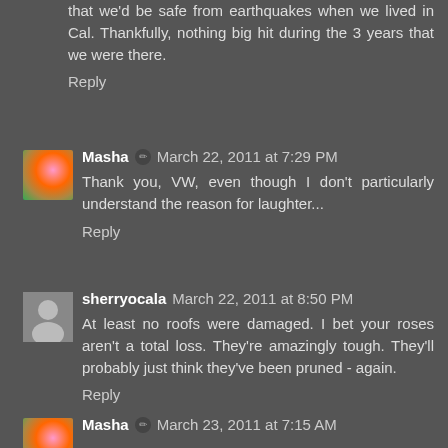that we'd be safe from earthquakes when we lived in Cal. Thankfully, nothing big hit during the 3 years that we were there.
Reply
Masha ✏ March 22, 2011 at 7:29 PM
Thank you, VW, even though I don't particularly understand the reason for laughter...
Reply
sherryocala March 22, 2011 at 8:50 PM
At least no roofs were damaged. I bet your roses aren't a total loss. They're amazingly tough. They'll probably just think they've been pruned - again.
Reply
Masha ✏ March 23, 2011 at 7:15 AM